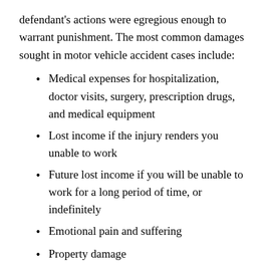defendant's actions were egregious enough to warrant punishment. The most common damages sought in motor vehicle accident cases include:
Medical expenses for hospitalization, doctor visits, surgery, prescription drugs, and medical equipment
Lost income if the injury renders you unable to work
Future lost income if you will be unable to work for a long period of time, or indefinitely
Emotional pain and suffering
Property damage
Permanent disability